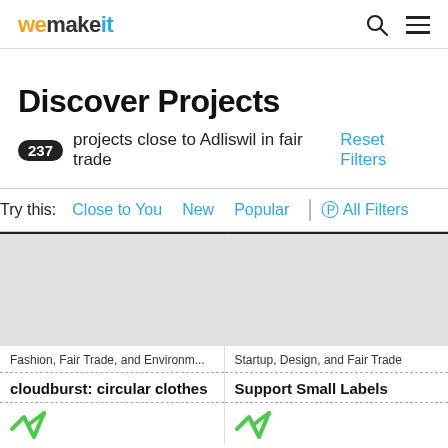wemakeit
Discover Projects
237 projects close to Adliswil in fair trade Reset Filters
Try this: Close to You  New  Popular  All Filters
[Figure (screenshot): Gray placeholder image for first project card]
Fashion, Fair Trade, and Environm...
cloudburst: circular clothes
[Figure (screenshot): Gray placeholder image for second project card]
Startup, Design, and Fair Trade
Support Small Labels